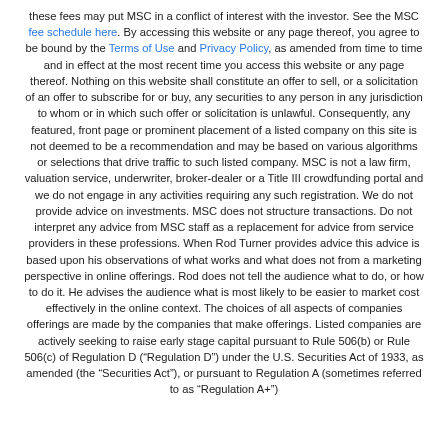these fees may put MSC in a conflict of interest with the investor. See the MSC fee schedule here. By accessing this website or any page thereof, you agree to be bound by the Terms of Use and Privacy Policy, as amended from time to time and in effect at the most recent time you access this website or any page thereof. Nothing on this website shall constitute an offer to sell, or a solicitation of an offer to subscribe for or buy, any securities to any person in any jurisdiction to whom or in which such offer or solicitation is unlawful. Consequently, any featured, front page or prominent placement of a listed company on this site is not deemed to be a recommendation and may be based on various algorithms or selections that drive traffic to such listed company. MSC is not a law firm, valuation service, underwriter, broker-dealer or a Title III crowdfunding portal and we do not engage in any activities requiring any such registration. We do not provide advice on investments. MSC does not structure transactions. Do not interpret any advice from MSC staff as a replacement for advice from service providers in these professions. When Rod Turner provides advice this advice is based upon his observations of what works and what does not from a marketing perspective in online offerings. Rod does not tell the audience what to do, or how to do it. He advises the audience what is most likely to be easier to market cost effectively in the online context. The choices of all aspects of companies offerings are made by the companies that make offerings. Listed companies are actively seeking to raise early stage capital pursuant to Rule 506(b) or Rule 506(c) of Regulation D (“Regulation D”) under the U.S. Securities Act of 1933, as amended (the "Securities Act"), or pursuant to Regulation A (sometimes referred to as "Regulation A+")